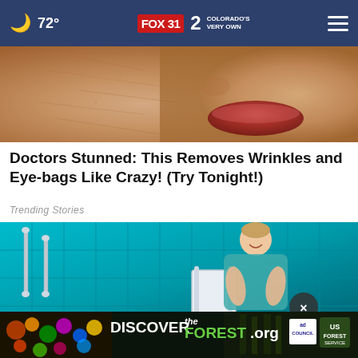72° FOX 31 2 COLORADO'S VERY OWN
[Figure (photo): Close-up photo of a person's lower face showing cheek, nose, and lips with visible skin texture and wrinkles]
Doctors Stunned: This Removes Wrinkles and Eye-bags Like Crazy! (Try Tonight!)
Trending Stories
[Figure (photo): Woman sitting in a teal/turquoise tiled bathroom on a bath chair, smiling, with grab bars visible. An overlay ad banner reads DISCOVERtheFOREST.org with ad council and US Forest Service logos. A close button (X) is visible.]